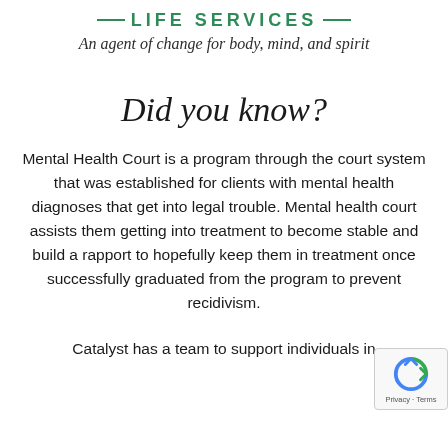— LIFE SERVICES —
An agent of change for body, mind, and spirit
Did you know?
Mental Health Court is a program through the court system that was established for clients with mental health diagnoses that get into legal trouble. Mental health court assists them getting into treatment to become stable and build a rapport to hopefully keep them in treatment once successfully graduated from the program to prevent recidivism.
Catalyst has a team to support individuals in